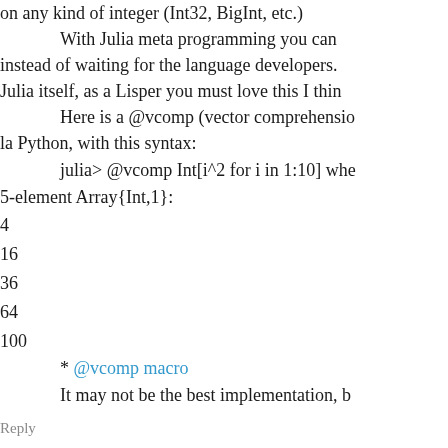You can just do `heil_print(miminteger)` and on any kind of integer (Int32, BigInt, etc.)
With Julia meta programming you can instead of waiting for the language developers. Julia itself, as a Lisper you must love this I think.
Here is a @vcomp (vector comprehension) la Python, with this syntax:
julia> @vcomp Int[i^2 for i in 1:10] where
5-element Array{Int,1}:
4
16
36
64
100
* @vcomp macro
It may not be the best implementation, b
Reply
Brian Hayes says: